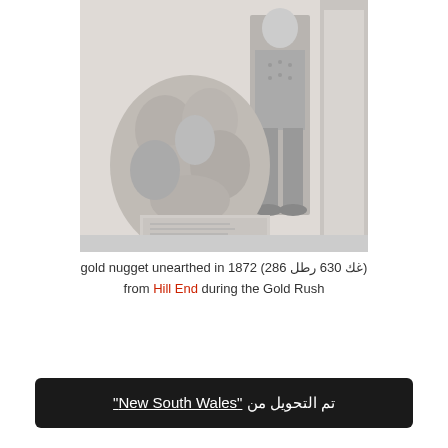[Figure (photo): Historical black and white photograph of a large gold nugget unearthed in 1872 from Hill End during the Gold Rush, shown next to a standing man for scale.]
gold nugget unearthed in 1872 (286 غك 630 رطل) from Hill End during the Gold Rush
تم التحويل من "New South Wales"